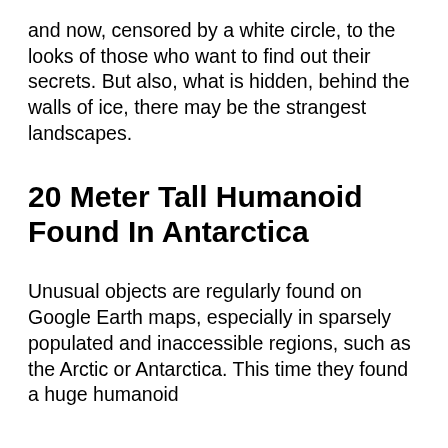and now, censored by a white circle, to the looks of those who want to find out their secrets. But also, what is hidden, behind the walls of ice, there may be the strangest landscapes.
20 Meter Tall Humanoid Found In Antarctica
Unusual objects are regularly found on Google Earth maps, especially in sparsely populated and inaccessible regions, such as the Arctic or Antarctica. This time they found a huge humanoid